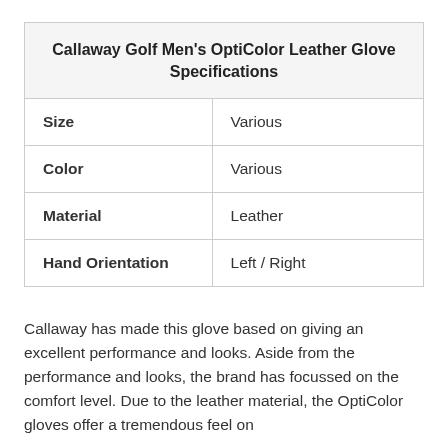|  |  |
| --- | --- |
| Size | Various |
| Color | Various |
| Material | Leather |
| Hand Orientation | Left / Right |
Callaway has made this glove based on giving an excellent performance and looks. Aside from the performance and looks, the brand has focussed on the comfort level. Due to the leather material, the OptiColor gloves offer a tremendous feel on